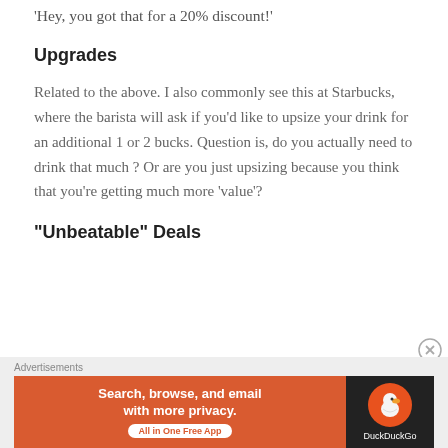'Hey, you got that for a 20% discount!'
Upgrades
Related to the above. I also commonly see this at Starbucks, where the barista will ask if you'd like to upsize your drink for an additional 1 or 2 bucks. Question is, do you actually need to drink that much ? Or are you just upsizing because you think that you're getting much more 'value'?
“Unbeatable” Deals
[Figure (other): DuckDuckGo advertisement banner with orange left panel reading 'Search, browse, and email with more privacy. All in One Free App' and dark right panel with DuckDuckGo logo.]